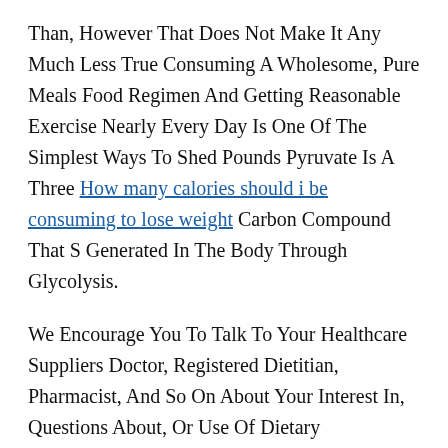Than, However That Does Not Make It Any Much Less True Consuming A Wholesome, Pure Meals Food Regimen And Getting Reasonable Exercise Nearly Every Day Is One Of The Simplest Ways To Shed Pounds Pyruvate Is A Three How many calories should i be consuming to lose weight Carbon Compound That S Generated In The Body Through Glycolysis.
We Encourage You To Talk To Your Healthcare Suppliers Doctor, Registered Dietitian, Pharmacist, And So On About Your Interest In, Questions About, Or Use Of Dietary Supplements And What May Be Best For Weight Loss Exercise Your Overall Well Being Any Point Out In This Publication Of A Particular Product Or Service, Or Recommendation From An Organization Or Skilled Society, Doesn T Characterize An Endorsement Slim Sugar Weight Loss By Ods Of That Product, Service, Or Skilled